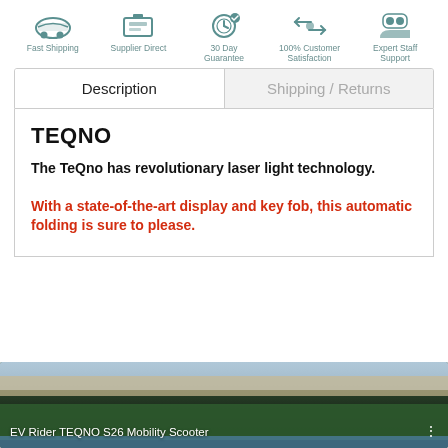[Figure (infographic): Top bar with 5 teal icons: Fast Shipping (car), Supplier Direct (scanner), 30 Day Guarantee (clock/shield), 100% Customer Satisfaction (arrows), Expert Staff Support (people). Each icon has a label below it.]
Description | Shipping / Returns
TEQNO
The TeQno has revolutionary laser light technology.
With a state-of-the-art display and key fob, this automatic folding is sure to please.
[Figure (screenshot): Video thumbnail showing 'EV Rider TEQNO S26 Mobility Scooter' with a marina/waterfront background scene. Three vertical dots menu icon on right.]